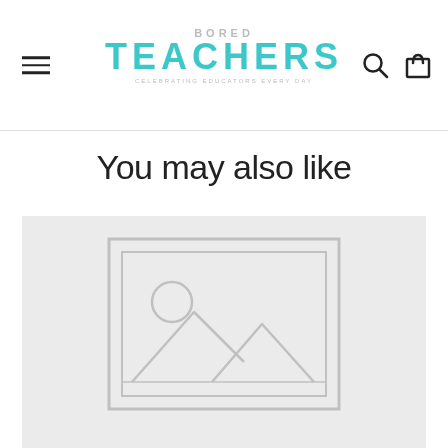Bored Teachers — Celebrating Educators Every Day
You may also like
[Figure (photo): Product image placeholder with mountain/landscape icon inside a rectangular frame on a light gray background]